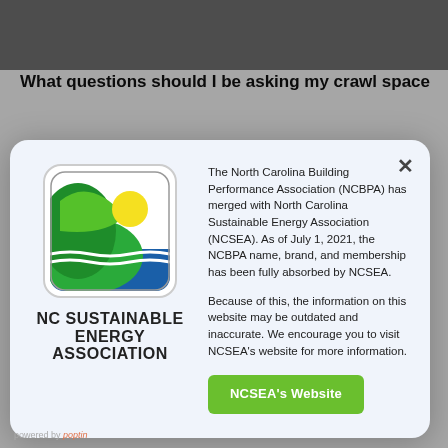What questions should I be asking my crawl space
[Figure (other): NC Sustainable Energy Association logo — green rounded square with sun and leaf design]
NC SUSTAINABLE ENERGY ASSOCIATION
The North Carolina Building Performance Association (NCBPA) has merged with North Carolina Sustainable Energy Association (NCSEA). As of July 1, 2021, the NCBPA name, brand, and membership has been fully absorbed by NCSEA.
Because of this, the information on this website may be outdated and inaccurate. We encourage you to visit NCSEA's website for more information.
NCSEA's Website
uneven walls and floors, or one with a large rock or other unmovable object.
The crawl space floor should be cleaned (no rocks or other debris to rip the plastic) and graded